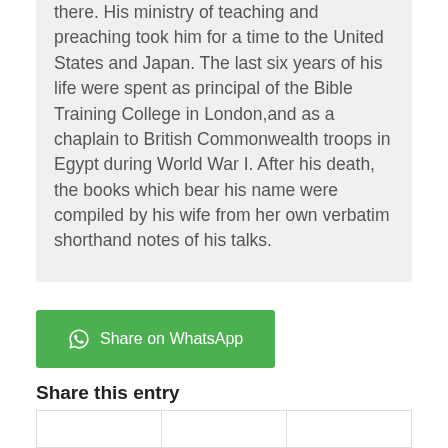there. His ministry of teaching and preaching took him for a time to the United States and Japan. The last six years of his life were spent as principal of the Bible Training College in London,and as a chaplain to British Commonwealth troops in Egypt during World War I. After his death, the books which bear his name were compiled by his wife from her own verbatim shorthand notes of his talks.
[Figure (other): Green Share on WhatsApp button with WhatsApp logo icon]
Share this entry
|  |  |  |